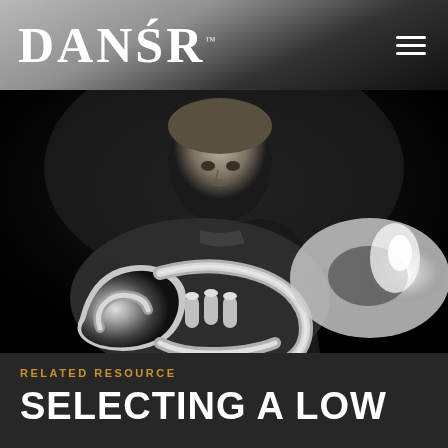DANŚR
[Figure (photo): Black and white photograph of a male musician in a dark suit leaning over a large brass tuba instrument, looking directly at the camera against a dark background.]
RELATED RESOURCE
SELECTING A LOW